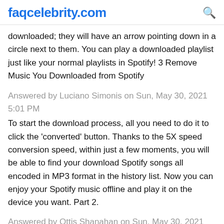faqcelebrity.com
downloaded; they will have an arrow pointing down in a circle next to them. You can play a downloaded playlist just like your normal playlists in Spotify! 3 Remove Music You Downloaded from Spotify
Answered by Luciano Simonis on Sun, May 30, 2021 5:01 PM
To start the download process, all you need to do it to click the 'converted' button. Thanks to the 5X speed conversion speed, within just a few moments, you will be able to find your download Spotify songs all encoded in MP3 format in the history list. Now you can enjoy your Spotify music offline and play it on the device you want. Part 2.
Answered by Ottis Shanahan on Sun, May 30, 2021